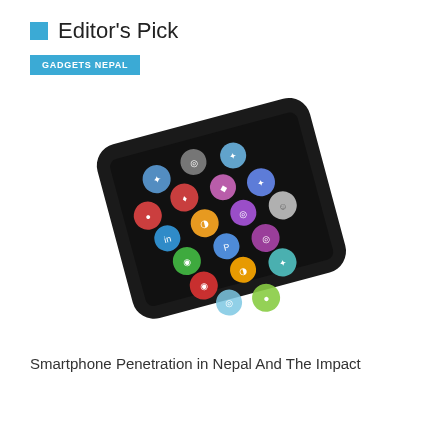Editor's Pick
GADGETS NEPAL
[Figure (photo): A black smartphone or tablet device shown at an angle, displaying colorful circular social media / app icons on its screen, arranged in a grid pattern on a dark background.]
Smartphone Penetration in Nepal And The Impact